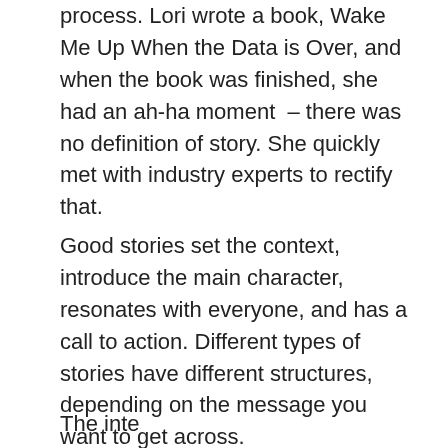process. Lori wrote a book, Wake Me Up When the Data is Over, and when the book was finished, she had an ah-ha moment  – there was no definition of story. She quickly met with industry experts to rectify that.
Good stories set the context, introduce the main character, resonates with everyone, and has a call to action. Different types of stories have different structures, depending on the message you want to get across.
The inte...